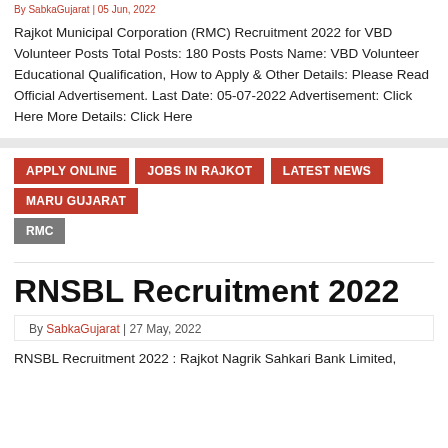By SabkaGujarat | 05 Jun, 2022
Rajkot Municipal Corporation (RMC) Recruitment 2022 for VBD Volunteer Posts Total Posts: 180 Posts Posts Name: VBD Volunteer Educational Qualification, How to Apply & Other Details: Please Read Official Advertisement. Last Date: 05-07-2022 Advertisement: Click Here More Details: Click Here
APPLY ONLINE
Jobs In Rajkot
LATEST NEWS
Maru Gujarat
RMC
RNSBL Recruitment 2022
By SabkaGujarat | 27 May, 2022
RNSBL Recruitment 2022 : Rajkot Nagrik Sahkari Bank Limited,